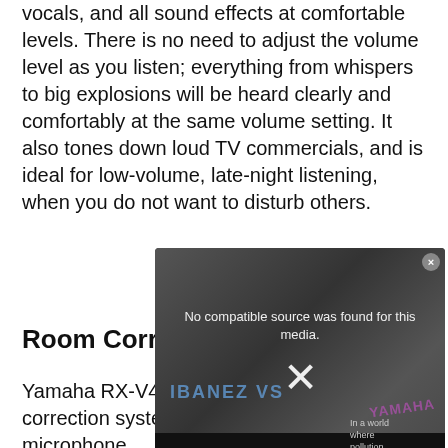vocals, and all sound effects at comfortable levels. There is no need to adjust the volume level as you listen; everything from whispers to big explosions will be heard clearly and comfortably at the same volume setting. It also tones down loud TV commercials, and is ideal for low-volume, late-night listening, when you do not want to disturb others.
[Figure (screenshot): Embedded video player overlay showing two guitarists, with error message 'No compatible source was found for this media.' and an X close symbol. Overlaid branding text reads IBANEZ VS YAMAHA. Below the video is an advertisement banner for PURE EARTH with text 'We believe the global pollution crisis can be solved. JOIN US.']
Room Correction
Yamaha RX-V485 comes with YPAO room correction system and includes the calibration microphone